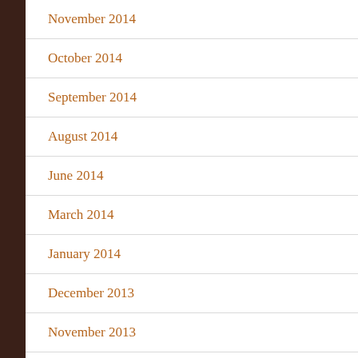November 2014
October 2014
September 2014
August 2014
June 2014
March 2014
January 2014
December 2013
November 2013